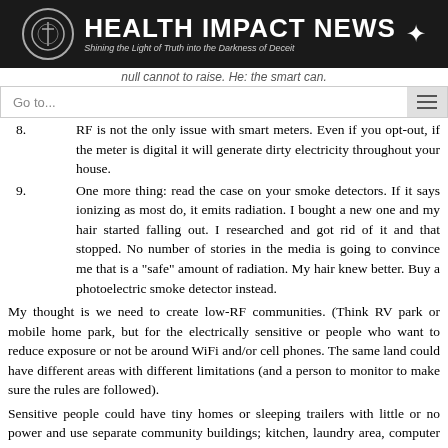HEALTH IMPACT NEWS — Shining the Light of Truth into the Darkness of Deceit
null cannot to raise. He: the smart can.
8. RF is not the only issue with smart meters. Even if you opt-out, if the meter is digital it will generate dirty electricity throughout your house.
9. One more thing: read the case on your smoke detectors. If it says ionizing as most do, it emits radiation. I bought a new one and my hair started falling out. I researched and got rid of it and that stopped. No number of stories in the media is going to convince me that is a "safe" amount of radiation. My hair knew better. Buy a photoelectric smoke detector instead.
My thought is we need to create low-RF communities. (Think RV park or mobile home park, but for the electrically sensitive or people who want to reduce exposure or not be around WiFi and/or cell phones. The same land could have different areas with different limitations (and a person to monitor to make sure the rules are followed).
Sensitive people could have tiny homes or sleeping trailers with little or no power and use separate community buildings; kitchen, laundry area, computer building, etc. That way they